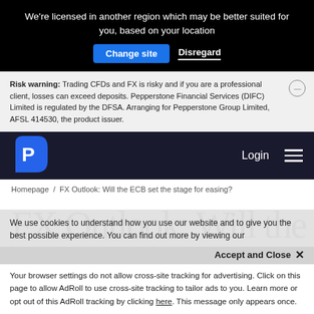We're licensed in another region which may be better suited for you, based on your location
Change site | Disregard
Risk warning: Trading CFDs and FX is risky and if you are a professional client, losses can exceed deposits. Pepperstone Financial Services (DIFC) Limited is regulated by the DFSA. Arranging for Pepperstone Group Limited, AFSL 414530, the product issuer.
[Figure (logo): Pepperstone logo - white P in blue teardrop shape]
Login
Homepage / FX Outlook: Will the ECB set the stage for easing?
FX Outlook: Will the
We use cookies to understand how you use our website and to give you the best possible experience. You can find out more by viewing our
Accept and Close ×
Your browser settings do not allow cross-site tracking for advertising. Click on this page to allow AdRoll to use cross-site tracking to tailor ads to you. Learn more or opt out of this AdRoll tracking by clicking here. This message only appears once.